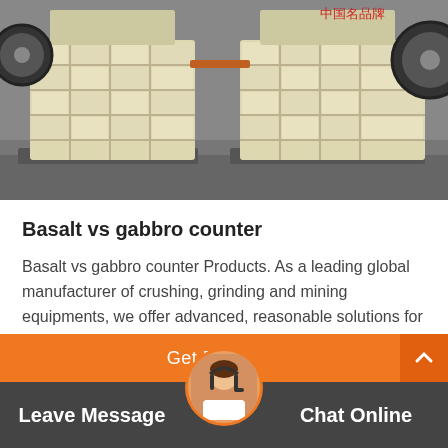[Figure (photo): Industrial jaw crushers (heavy yellow/cream colored machinery) sitting on a factory floor, two large units visible side by side with flywheels and ribbed frames. Chinese text visible in top right corner.]
Basalt vs gabbro counter
Basalt vs gabbro counter Products. As a leading global manufacturer of crushing, grinding and mining equipments, we offer advanced, reasonable solutions for any size-reduction requirements including, Basalt vs gabbro counter, quarry,…
Get Price
Leave Message
Chat Online